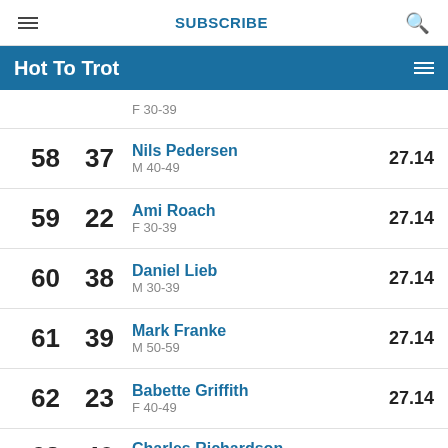SUBSCRIBE
Hot To Trot
| Overall | Age Rank | Name / Category | Time |
| --- | --- | --- | --- |
|  |  | F 30-39 (partial) |  |
| 58 | 37 | Nils Pedersen M 40-49 | 27.14 |
| 59 | 22 | Ami Roach F 30-39 | 27.14 |
| 60 | 38 | Daniel Lieb M 30-39 | 27.14 |
| 61 | 39 | Mark Franke M 50-59 | 27.14 |
| 62 | 23 | Babette Griffith F 40-49 | 27.14 |
| 63 | 40 | Charles Richardson M 50-59 | 27.14 |